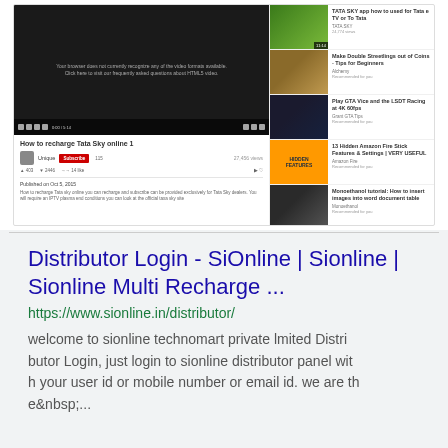[Figure (screenshot): Screenshot of a YouTube page showing 'How to recharge Tata Sky online' video with sidebar showing related videos]
Distributor Login - SiOnline | Sionline | Sionline Multi Recharge ...
https://www.sionline.in/distributor/
welcome to sionline technomart private lmited Distributor Login, just login to sionline distributor panel with your user id or mobile number or email id. we are the ...